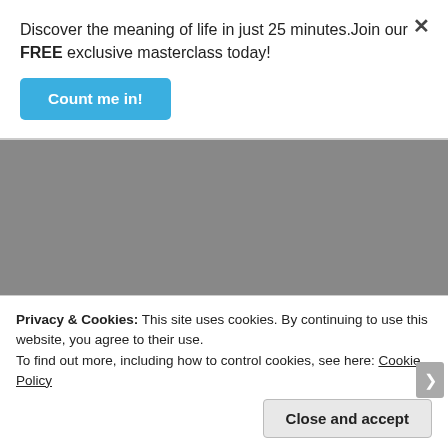Discover the meaning of life in just 25 minutes.Join our FREE exclusive masterclass today!
[Figure (other): Blue 'Count me in!' call-to-action button]
×
However, doesn't this lead to idolatry?
Obviously, yes.
However, do you know it is in vain that you pray to these dead saints?
They are dead already.
Privacy & Cookies: This site uses cookies. By continuing to use this website, you agree to their use.
To find out more, including how to control cookies, see here: Cookie Policy
Close and accept